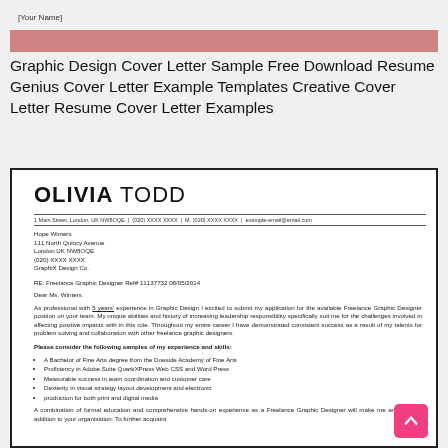[Your Name]
Graphic Design Cover Letter Sample Free Download Resume Genius Cover Letter Example Templates Creative Cover Letter Resume Cover Letter Examples
[Figure (other): A cover letter document for Olivia Todd, Freelance Graphic Designer position, showing name header, contact info, address block for Hope Winters at GraphiX Design Co., RE line for Ref# 11137732 08/05/2014, salutation Dear Ms. Winters, body paragraph about 5 years experience in Graphic Design, bold line asking to consider samples of experience and skills, and a bulleted list of qualifications.]